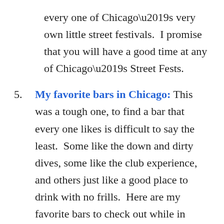every one of Chicago’s very own little street festivals.  I promise that you will have a good time at any of Chicago’s Street Fests.
My favorite bars in Chicago: This was a tough one, to find a bar that every one likes is difficult to say the least.  Some like the down and dirty dives, some like the club experience, and others just like a good place to drink with no frills.  Here are my favorite bars to check out while in Chicago, the (—) indicates what neig:
a. The Bedford (Wicker